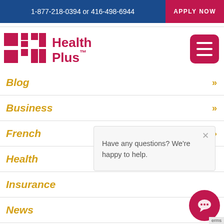1-877-218-0394 or 416-498-6944
APPLY NOW
[Figure (logo): Health Plus logo with pink/magenta H-shaped squares and text 'Health Plus TM']
Blog »
Business »
French »
Health
Insurance
News »
Wellness Moment »
Have any questions? We're happy to help.